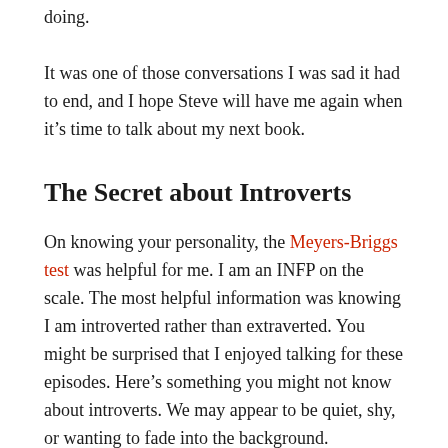doing.
It was one of those conversations I was sad it had to end, and I hope Steve will have me again when it's time to talk about my next book.
The Secret about Introverts
On knowing your personality, the Meyers-Briggs test was helpful for me. I am an INFP on the scale. The most helpful information was knowing I am introverted rather than extraverted. You might be surprised that I enjoyed talking for these episodes. Here's something you might not know about introverts. We may appear to be quiet, shy, or wanting to fade into the background.